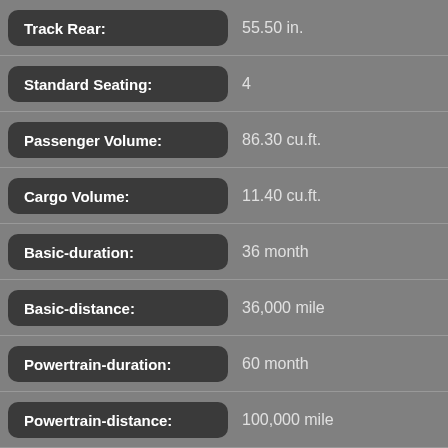| Attribute | Value |
| --- | --- |
| Track Rear: | 55.50 in. |
| Standard Seating: | 4 |
| Passenger Volume: | 86.30 cu.ft. |
| Cargo Volume: | 11.40 cu.ft. |
| Basic-duration: | 36 month |
| Basic-distance: | 36,000 mile |
| Powertrain-duration: | 60 month |
| Powertrain-distance: | 100,000 mile |